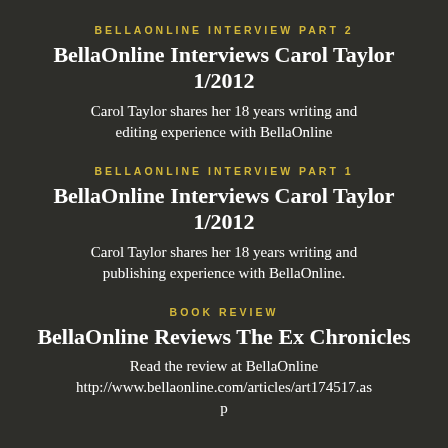BELLAONLINE INTERVIEW PART 2
BellaOnline Interviews Carol Taylor 1/2012
Carol Taylor shares her 18 years writing and editing experience with BellaOnline
BELLAONLINE INTERVIEW PART 1
BellaOnline Interviews Carol Taylor 1/2012
Carol Taylor shares her 18 years writing and publishing experience with BellaOnline.
BOOK REVIEW
BellaOnline Reviews The Ex Chronicles
Read the review at BellaOnline http://www.bellaonline.com/articles/art174517.asp